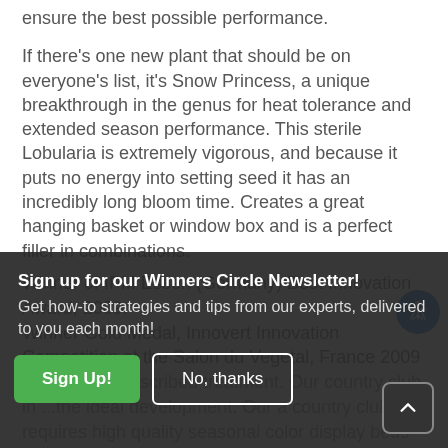ensure the best possible performance.
If there's one new plant that should be on everyone's list, it's Snow Princess, a unique breakthrough in the genus for heat tolerance and extended season performance. This sterile Lobularia is extremely vigorous, and because it puts no energy into setting seed it has an incredibly long bloom time. Creates a great hanging basket or window box and is a perfect filler in combinations.
Winner of IPM Essen (Germany) Best Innovation Award, 2009.
Winner Gold Medal, Innovert Innovation Competition at the Salon du Vegetal, France 2009
...the article described treatment. Our country club in ...the ideal development. Our country club requires high quality seasonal color display beds that will perform all ...like to introduce new varieties in my designs that will meet our requirements. I was so
Sign up for our Winners Circle Newsletter! Get how-to strategies and tips from our experts, delivered to you each month!